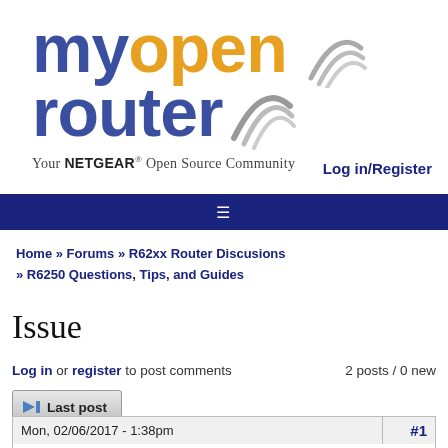[Figure (logo): myopenrouter logo with wifi signal arcs, tagline 'Your NETGEAR Open Source Community']
Log in/Register
hamburger menu navigation bar
Home » Forums » R62xx Router Discusions » R6250 Questions, Tips, and Guides
Issue
Log in or register to post comments
2 posts / 0 new
Last post
| Date | # |
| --- | --- |
| Mon, 02/06/2017 - 1:38pm | #1 |
|  | After installing DD-WRT v3.0 |